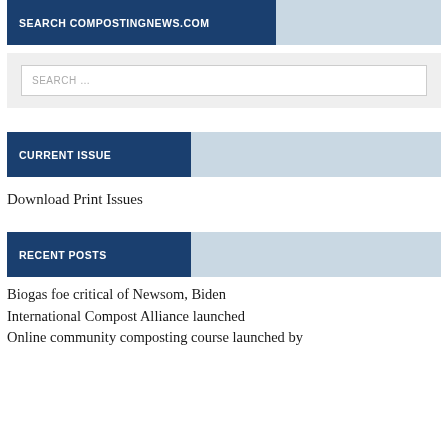SEARCH COMPOSTINGNEWS.COM
SEARCH …
CURRENT ISSUE
Download Print Issues
RECENT POSTS
Biogas foe critical of Newsom, Biden
International Compost Alliance launched
Online community composting course launched by